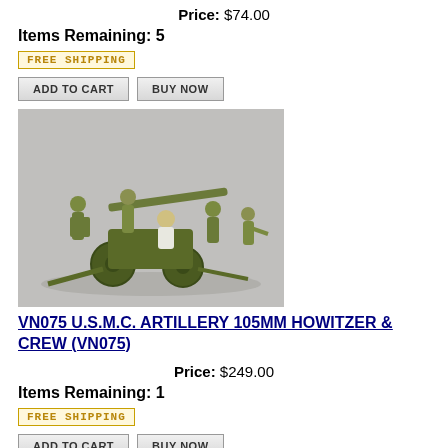Price: $74.00
Items Remaining: 5
FREE SHIPPING
ADD TO CART   BUY NOW
[Figure (photo): Military miniature figurines of U.S.M.C. artillery crew with 105mm Howitzer cannon, painted in olive green, on a gray background]
VN075 U.S.M.C. ARTILLERY 105MM HOWITZER & CREW (VN075)
Price: $249.00
Items Remaining: 1
FREE SHIPPING
ADD TO CART   BUY NOW
[Figure (photo): Partial view of another military miniature product, showing what appears to be a parachute or feathered item on a gray background]